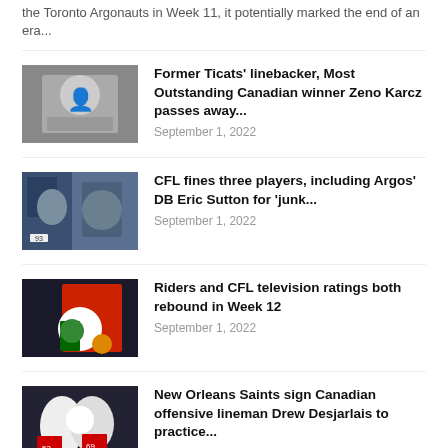the Toronto Argonauts in Week 11, it potentially marked the end of an era...
Former Ticats' linebacker, Most Outstanding Canadian winner Zeno Karcz passes away... | September 1, 2022
CFL fines three players, including Argos' DB Eric Sutton for 'junk... | September 1, 2022
Riders and CFL television ratings both rebound in Week 12 | September 1, 2022
New Orleans Saints sign Canadian offensive lineman Drew Desjarlais to practice... | September 1, 2022